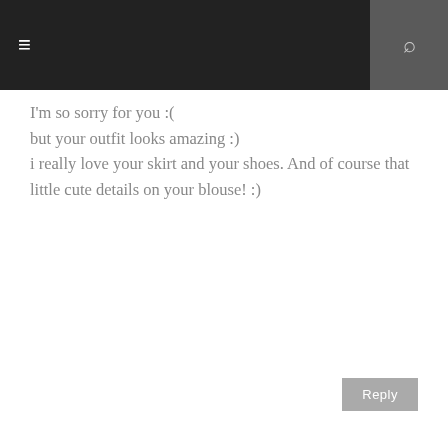☰  🔍
I'm so sorry for you :( but your outfit looks amazing :) i really love your skirt and your shoes. And of course that little cute details on your blouse! :)
Reply
[Figure (illustration): Blogger logo avatar: orange circle with white B]
UNKNOWN
April 25, 2012 at 1:32 PM
so sorry for your cat cheer up!, i wish you all the best! and i love the skirt, lovely shoes too :)
Reply